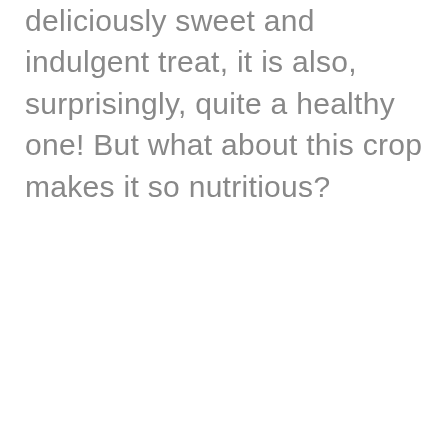deliciously sweet and indulgent treat, it is also, surprisingly, quite a healthy one! But what about this crop makes it so nutritious?